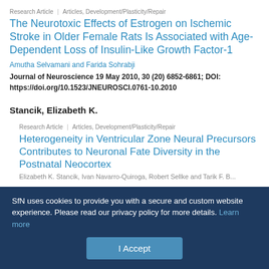Research Article | Articles, Development/Plasticity/Repair
The Neurotoxic Effects of Estrogen on Ischemic Stroke in Older Female Rats Is Associated with Age-Dependent Loss of Insulin-Like Growth Factor-1
Amutha Selvamani and Farida Sohrabji
Journal of Neuroscience 19 May 2010, 30 (20) 6852-6861; DOI: https://doi.org/10.1523/JNEUROSCI.0761-10.2010
Stancik, Elizabeth K.
Research Article | Articles, Development/Plasticity/Repair
Heterogeneity in Ventricular Zone Neural Precursors Contributes to Neuronal Fate Diversity in the Postnatal Neocortex
SfN uses cookies to provide you with a secure and custom website experience. Please read our privacy policy for more details. Learn more
I Accept